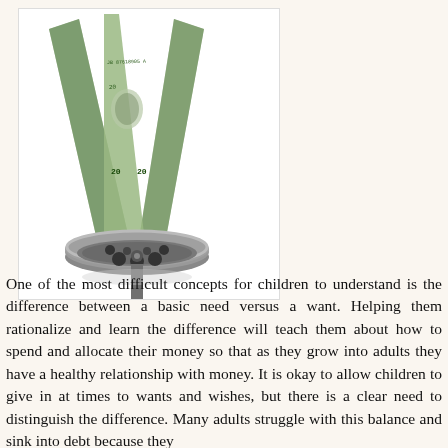[Figure (photo): A US twenty dollar bill going down a metal sink drain, shown as if the money is being sucked into the drain — symbolizing money being wasted or lost.]
One of the most difficult concepts for children to understand is the difference between a basic need versus a want. Helping them rationalize and learn the difference will teach them about how to spend and allocate their money so that as they grow into adults they have a healthy relationship with money. It is okay to allow children to give in at times to wants and wishes, but there is a clear need to distinguish the difference. Many adults struggle with this balance and sink into debt because they